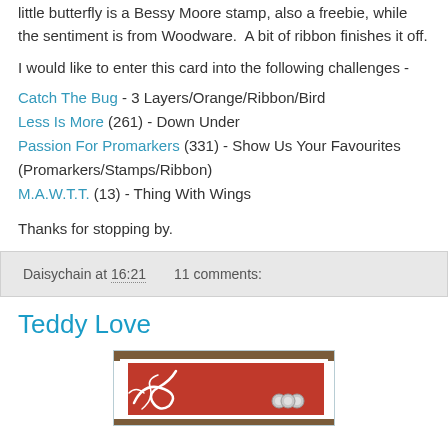little butterfly is a Bessy Moore stamp, also a freebie, while the sentiment is from Woodware. A bit of ribbon finishes it off.
I would like to enter this card into the following challenges -
Catch The Bug - 3 Layers/Orange/Ribbon/Bird
Less Is More (261) - Down Under
Passion For Promarkers (331) - Show Us Your Favourites (Promarkers/Stamps/Ribbon)
M.A.W.T.T. (13) - Thing With Wings
Thanks for stopping by.
Daisychain at 16:21   11 comments:
Teddy Love
[Figure (photo): A handmade card with a red background featuring decorative swirl/flourish designs and three silver/grey circular embellishments (brads or gems) visible on the right side.]